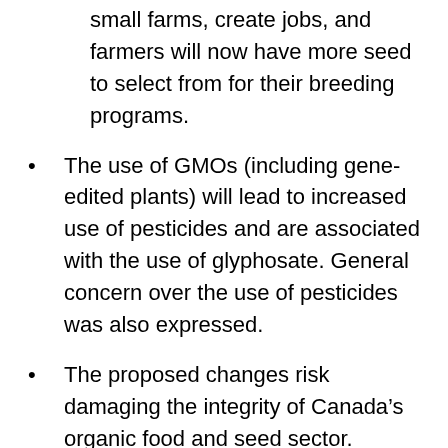small farms, create jobs, and farmers will now have more seed to select from for their breeding programs.
The use of GMOs (including gene-edited plants) will lead to increased use of pesticides and are associated with the use of glyphosate. General concern over the use of pesticides was also expressed.
The proposed changes risk damaging the integrity of Canada’s organic food and seed sector.
Comments related to international trade